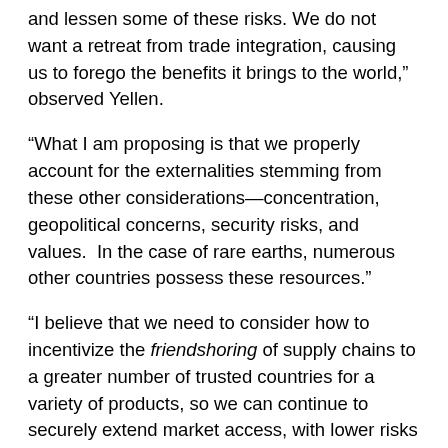and lessen some of these risks. We do not want a retreat from trade integration, causing us to forego the benefits it brings to the world,” observed Yellen.
“What I am proposing is that we properly account for the externalities stemming from these other considerations—concentration, geopolitical concerns, security risks, and values.  In the case of rare earths, numerous other countries possess these resources.”
“I believe that we need to consider how to incentivize the friendshoring of supply chains to a greater number of trusted countries for a variety of products, so we can continue to securely extend market access, with lower risks to our economy, as well as to those of our trade partners,” commented Yellen.
In a transcript from a recent press conference, Yellen explains, “Ideally, we would have a large group of trusted partners so that we can maintain the efficiencies that come from the global division of labor